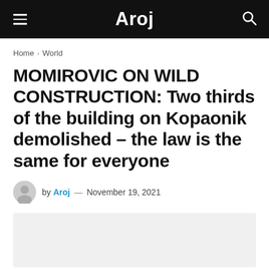Aroj
Home > World
MOMIROVIC ON WILD CONSTRUCTION: Two thirds of the building on Kopaonik demolished – the law is the same for everyone
by Aroj — November 19, 2021
[Figure (photo): Gray placeholder image area]